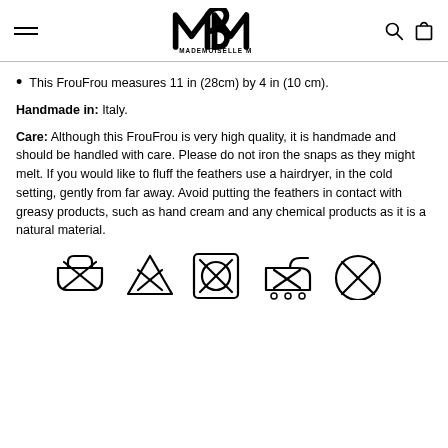Mademoiselle Martin
This FrouFrou measures 11 in (28cm) by 4 in (10 cm).
Handmade in: Italy.
Care: Although this FrouFrou is very high quality, it is handmade and should be handled with care. Please do not iron the snaps as they might melt. If you would like to fluff the feathers use a hairdryer, in the cold setting, gently from far away. Avoid putting the feathers in contact with greasy products, such as hand cream and any chemical products as it is a natural material.
[Figure (other): Laundry care symbols: do not wash, do not bleach, do not tumble dry, do not iron, do not dry clean]